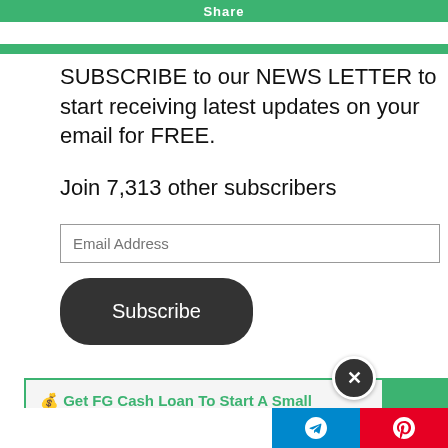[Figure (screenshot): Green WhatsApp Share button at top]
SUBSCRIBE to our NEWS LETTER to start receiving latest updates on your email for FREE.
Join 7,313 other subscribers
[Figure (screenshot): Email Address input field and Subscribe button]
💰 Get FG Cash Loan To Start A Small Business
💬 Follow Us On Telegram Group